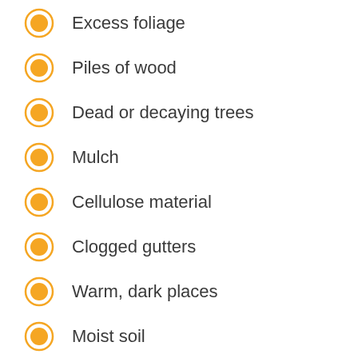Excess foliage
Piles of wood
Dead or decaying trees
Mulch
Cellulose material
Clogged gutters
Warm, dark places
Moist soil
If you notice winged ants, mud tubes, wings that have been shed, or structural